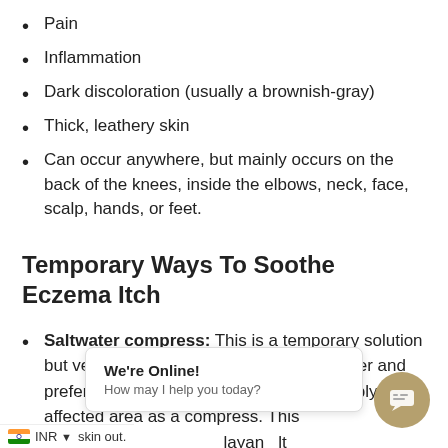Pain
Inflammation
Dark discoloration (usually a brownish-gray)
Thick, leathery skin
Can occur anywhere, but mainly occurs on the back of the knees, inside the elbows, neck, face, scalp, hands, or feet.
Temporary Ways To Soothe Eczema Itch
Saltwater compress: This is a temporary solution but very helpful. Soak a cloth in warm water and preferably Himalayan salt solution and apply to the affected area as a compress. This will [himalayan salt] in your bath water w[ith i]skin out.